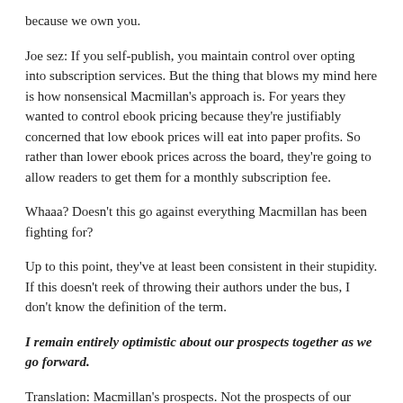because we own you.
Joe sez: If you self-publish, you maintain control over opting into subscription services. But the thing that blows my mind here is how nonsensical Macmillan's approach is. For years they wanted to control ebook pricing because they're justifiably concerned that low ebook prices will eat into paper profits. So rather than lower ebook prices across the board, they're going to allow readers to get them for a monthly subscription fee.
Whaaa? Doesn't this go against everything Macmillan has been fighting for?
Up to this point, they've at least been consistent in their stupidity. If this doesn't reek of throwing their authors under the bus, I don't know the definition of the term.
I remain entirely optimistic about our prospects together as we go forward.
Translation: Macmillan's prospects. Not the prospects of our writers.